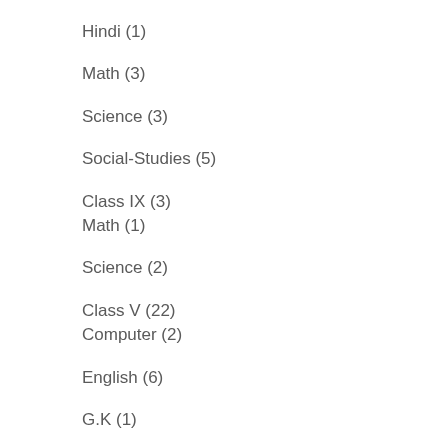Hindi (1)
Math (3)
Science (3)
Social-Studies (5)
Class IX (3)
Math (1)
Science (2)
Class V (22)
Computer (2)
English (6)
G.K (1)
Hindi (1)